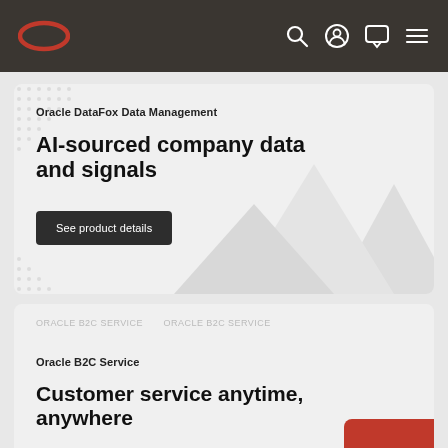Oracle navigation bar with logo and icons
Oracle DataFox Data Management
AI-sourced company data and signals
See product details
Oracle B2C Service
Customer service anytime, anywhere
See solution details